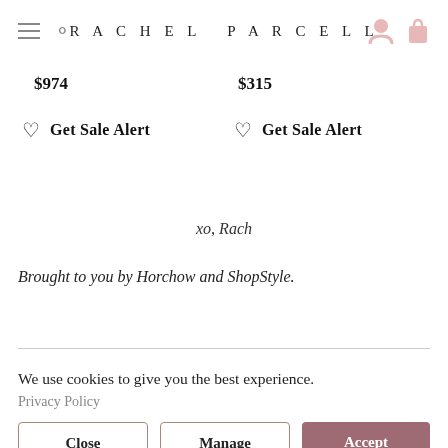RACHEL PARCELL
$974
$315
Get Sale Alert
Get Sale Alert
xo, Rach
Brought to you by Horchow and ShopStyle.
We use cookies to give you the best experience.
Privacy Policy
Close
Manage
Accept